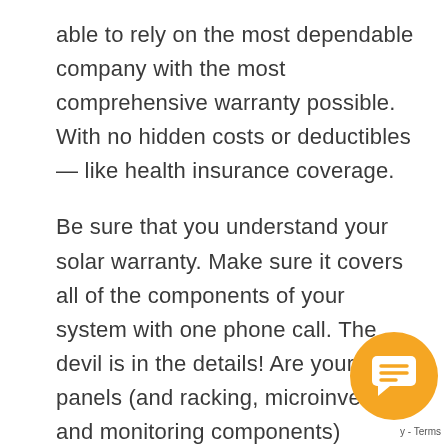able to rely on the most dependable company with the most comprehensive warranty possible. With no hidden costs or deductibles — like health insurance coverage.
Be sure that you understand your solar warranty. Make sure it covers all of the components of your system with one phone call. The devil is in the details! Are your panels (and racking, microinverter, and monitoring components) covered for replacement including labor, transportation and reinstallation?
With solar warranties, like Health Insurance